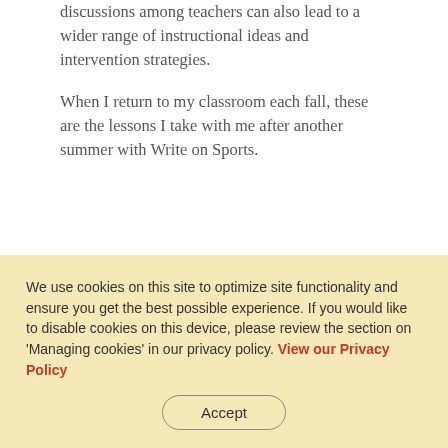discussions among teachers can also lead to a wider range of instructional ideas and intervention strategies.
When I return to my classroom each fall, these are the lessons I take with me after another summer with Write on Sports.
We use cookies on this site to optimize site functionality and ensure you get the best possible experience. If you would like to disable cookies on this device, please review the section on 'Managing cookies' in our privacy policy. View our Privacy Policy